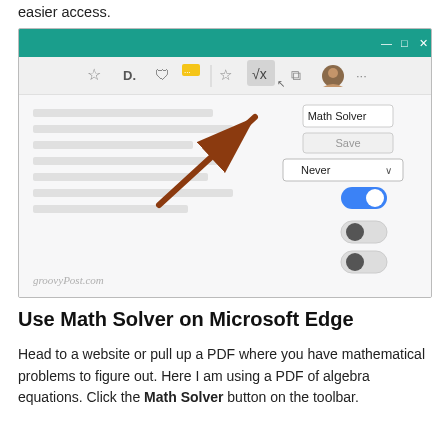easier access.
[Figure (screenshot): Screenshot of Microsoft Edge browser showing the toolbar with the Math Solver button highlighted, a tooltip reading 'Math Solver', a brown arrow pointing to the Math Solver icon, and UI elements including Save, Never dropdown, and toggle switches. groovyPost.com watermark visible.]
Use Math Solver on Microsoft Edge
Head to a website or pull up a PDF where you have mathematical problems to figure out. Here I am using a PDF of algebra equations. Click the Math Solver button on the toolbar.